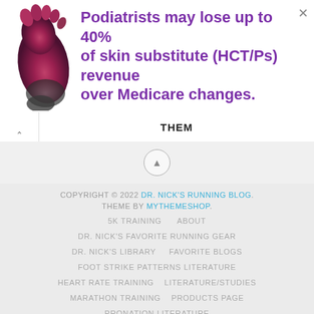[Figure (illustration): Advertisement banner showing a pink/burgundy foot/sock image on the left and bold purple text on the right reading: Podiatrists may lose up to 40% of skin substitute (HCT/Ps) revenue over Medicare changes.]
THEM
COPYRIGHT © 2022 DR. NICK'S RUNNING BLOG. THEME BY MYTHEMESHOP. 5K TRAINING  ABOUT DR. NICK'S FAVORITE RUNNING GEAR DR. NICK'S LIBRARY  FAVORITE BLOGS FOOT STRIKE PATTERNS LITERATURE HEART RATE TRAINING  LITERATURE/STUDIES MARATHON TRAINING  PRODUCTS PAGE PRONATION LITERATURE RACE SCHEDULE FOR UNITES STATES RUNNING LITERATURE  RUNNING SHOES RUNNING SHOES LITERATURE  SHOE RECOMMENDATIONS STORE